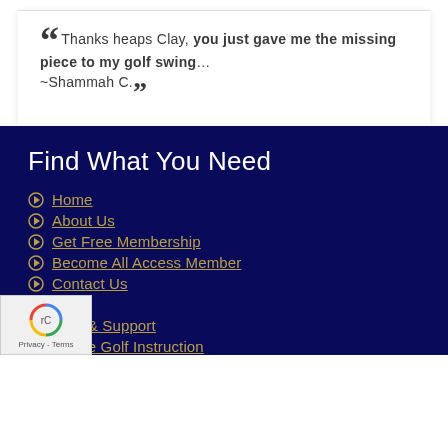“Thanks heaps Clay, you just gave me the missing piece to my golf swing… ~Shammah C.”
Find What You Need
Home
About Us
Get Free Membership
Become All Access Member
Contact Us
FAQs
Help & Support
Online Golf Instruction